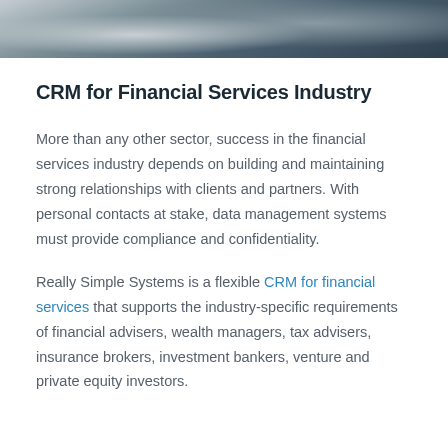[Figure (photo): Partial photo of two business professionals in suits, cropped to show upper body/torso region only against a light background.]
CRM for Financial Services Industry
More than any other sector, success in the financial services industry depends on building and maintaining strong relationships with clients and partners. With personal contacts at stake, data management systems must provide compliance and confidentiality.
Really Simple Systems is a flexible CRM for financial services that supports the industry-specific requirements of financial advisers, wealth managers, tax advisers, insurance brokers, investment bankers, venture and private equity investors.